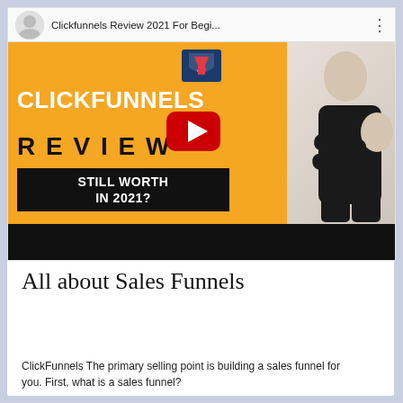[Figure (screenshot): YouTube video embed showing a ClickFunnels Review 2021 For Beginners video thumbnail. The thumbnail has an orange background with white bold text 'CLICKFUNNELS' and black bold text 'REVIEW' and a black box with white text 'STILL WORTH IN 2021?'. A YouTube play button is centered. A man in a black sweater with arms crossed is on the right side. A ClickFunnels logo icon appears at the top center. The top bar shows the YouTube interface with avatar, video title 'Clickfunnels Review 2021 For Begi...' and a three-dot menu. The bottom strip is black.]
All about Sales Funnels
ClickFunnels The primary selling point is building a sales funnel for you. First, what is a sales funnel?